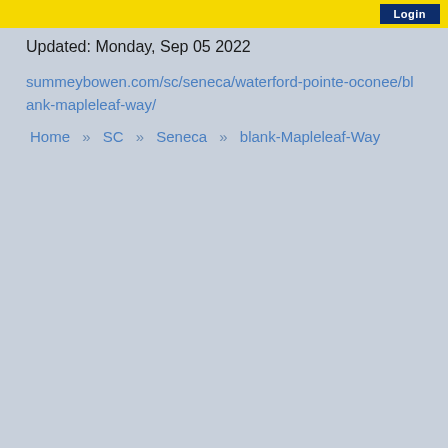Login
Updated: Monday, Sep 05 2022
summeybowen.com/sc/seneca/waterford-pointe-oconee/blank-mapleleaf-way/
Home » SC » Seneca » blank-Mapleleaf-Way